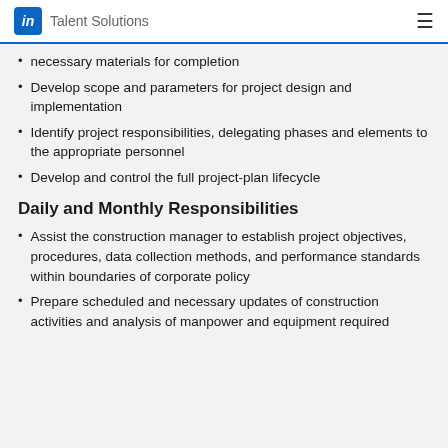LinkedIn Talent Solutions
necessary materials for completion
Develop scope and parameters for project design and implementation
Identify project responsibilities, delegating phases and elements to the appropriate personnel
Develop and control the full project-plan lifecycle
Daily and Monthly Responsibilities
Assist the construction manager to establish project objectives, procedures, data collection methods, and performance standards within boundaries of corporate policy
Prepare scheduled and necessary updates of construction activities and analysis of manpower and equipment required